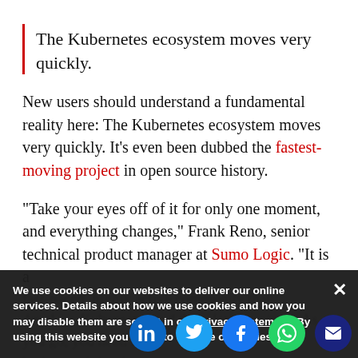The Kubernetes ecosystem moves very quickly.
New users should understand a fundamental reality here: The Kubernetes ecosystem moves very quickly. It’s even been dubbed the fastest-moving project in open source history.
“Take your eyes off of it for only one moment, and everything changes,” Frank Reno, senior technical product manager at Sumo Logic. “It is a fast-paced, highly active community that develops Kubernetes and the related projects. As you go, you need to look at and develo but still, much to l
We use cookies on our websites to deliver our online services. Details about how we use cookies and how you may disable them are set out in our Privacy Statement. By using this website you agree to our use of cookies.